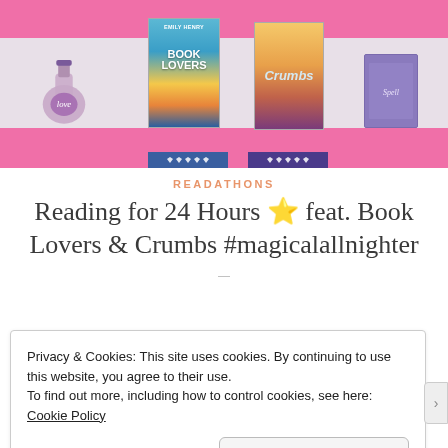[Figure (illustration): Blog header banner with pink background showing two book covers — 'Book Lovers' by Emily Henry and 'Crumbs' — displayed on a horizontal strip, with a potion bottle illustration on the left and a small purple book on the right.]
READATHONS
Reading for 24 Hours ⭐ feat. Book Lovers & Crumbs #magicalallnighter
Privacy & Cookies: This site uses cookies. By continuing to use this website, you agree to their use.
To find out more, including how to control cookies, see here: Cookie Policy
Close and accept